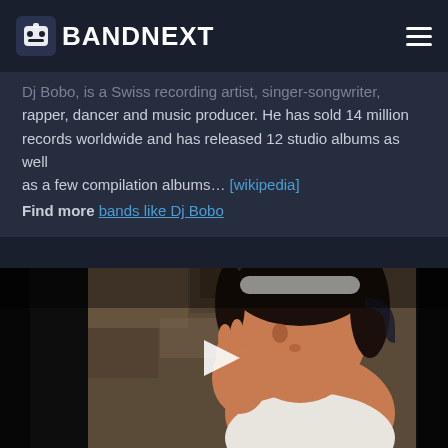BANDNEXT
Dj Bobo, is a Swiss recording artist, singer-songwriter, rapper, dancer and music producer. He has sold 14 million records worldwide and has released 12 studio albums as well as a few compilation albums... [wikipedia]
Find more bands like Dj Bobo
[Figure (photo): Video thumbnail showing a young man with dark hair leaning forward, wearing a white tank top, with stone wall in background, and a white play button overlay in the center]